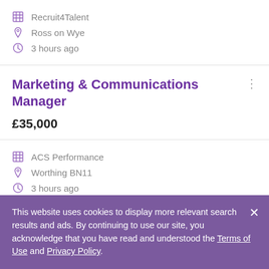Recruit4Talent
Ross on Wye
3 hours ago
Marketing & Communications Manager
£35,000
ACS Performance
Worthing BN11
3 hours ago
This website uses cookies to display more relevant search results and ads. By continuing to use our site, you acknowledge that you have read and understood the Terms of Use and Privacy Policy.